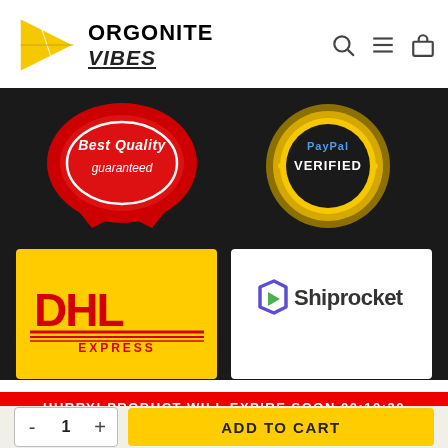[Figure (logo): Orgonite Vibes logo with yellow triangle/star shape and brand name]
[Figure (infographic): Best Quality Guaranteed red badge and PayPal Verified gold seal on dark background]
[Figure (logo): DHL Express logo on yellow background]
[Figure (logo): Shiprocket logo on white background]
HURRY! PRODUCT WILL EXPIRE SOON 00:10:20
- 1 + ADD TO CART